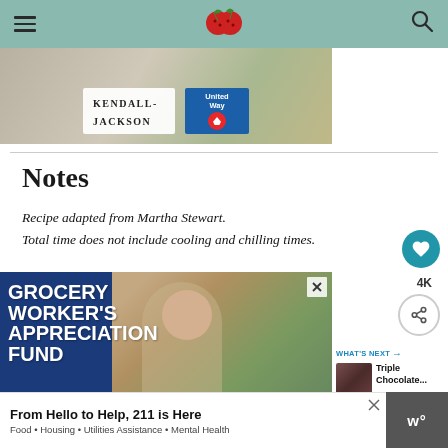Navigation header with hamburger menu, fruit logo, and search icon
[Figure (photo): Top advertisement banner featuring Kendall-Jackson and United Way logos]
Notes
Recipe adapted from Martha Stewart.
Total time does not include cooling and chilling times.
[Figure (photo): Grocery Worker's Appreciation Fund advertisement showing young male grocery worker smiling in produce section]
[Figure (photo): Bottom advertisement: From Hello to Help, 211 is Here. Food • Housing • Utilities Assistance • Mental Health]
[Figure (photo): What's Next thumbnail for Triple Chocolate...]
From Hello to Help, 211 is Here — Food • Housing • Utilities Assistance • Mental Health